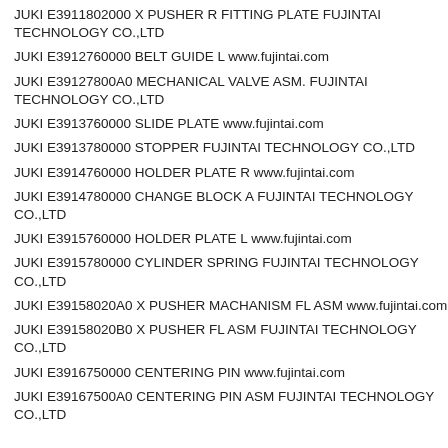JUKI E3911802000 X PUSHER R FITTING PLATE FUJINTAI TECHNOLOGY CO.,LTD
JUKI E3912760000 BELT GUIDE L www.fujintai.com
JUKI E39127800A0 MECHANICAL VALVE ASM. FUJINTAI TECHNOLOGY CO.,LTD
JUKI E3913760000 SLIDE PLATE www.fujintai.com
JUKI E3913780000 STOPPER FUJINTAI TECHNOLOGY CO.,LTD
JUKI E3914760000 HOLDER PLATE R www.fujintai.com
JUKI E3914780000 CHANGE BLOCK A FUJINTAI TECHNOLOGY CO.,LTD
JUKI E3915760000 HOLDER PLATE L www.fujintai.com
JUKI E3915780000 CYLINDER SPRING FUJINTAI TECHNOLOGY CO.,LTD
JUKI E39158020A0 X PUSHER MACHANISM FL ASM www.fujintai.com
JUKI E39158020B0 X PUSHER FL ASM FUJINTAI TECHNOLOGY CO.,LTD
JUKI E3916750000 CENTERING PIN www.fujintai.com
JUKI E39167500A0 CENTERING PIN ASM FUJINTAI TECHNOLOGY CO.,LTD